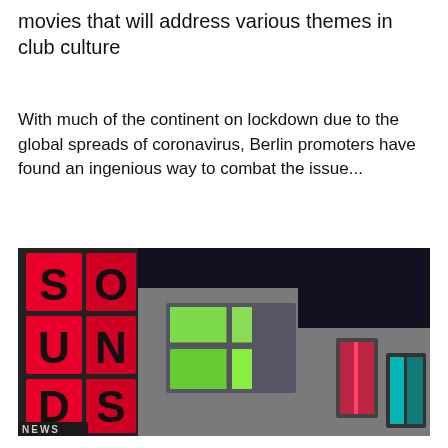movies that will address various themes in club culture
With much of the continent on lockdown due to the global spreads of coronavirus, Berlin promoters have found an ingenious way to combat the issue...
[Figure (photo): Nighttime photo of a building exterior showing illuminated windows with colored lights (red, green, cyan/teal) and a vertical sign reading 'SOUNDS' visible on the left side. The bottom of the image shows the word 'NEWS' partially visible.]